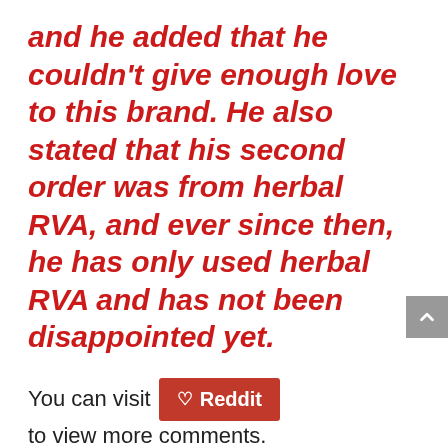and he added that he couldn't give enough love to this brand. He also stated that his second order was from herbal RVA, and ever since then, he has only used herbal RVA and has not been disappointed yet.
You can visit Reddit to view more comments.
The brand also has a good social media presence with Facebook and Instagram accounts. They have quite a several members